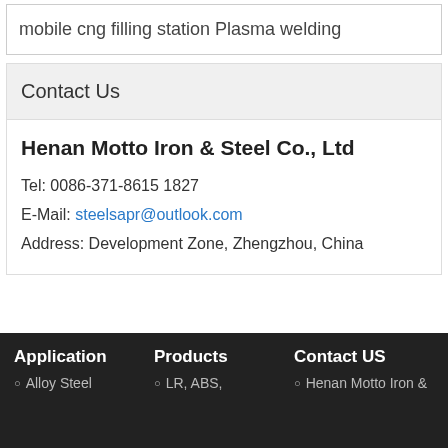mobile cng filling station Plasma welding
Contact Us
Henan Motto Iron & Steel Co., Ltd
Tel: 0086-371-8615 1827
E-Mail: steelsapr@outlook.com
Address: Development Zone, Zhengzhou, China
Application
Products
Contact US
Alloy Steel
LR, ABS,
Henan Motto Iron &